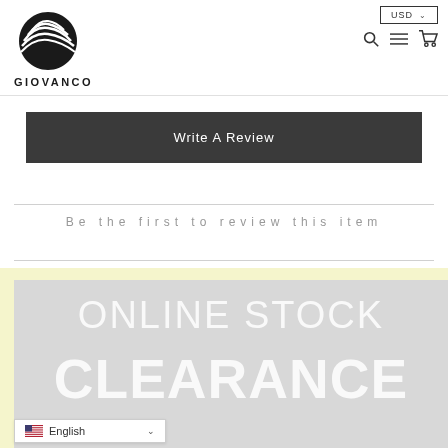[Figure (logo): Giovanco logo with swoosh/wave graphic marks and bold GIOVANCO text below]
[Figure (screenshot): USD currency selector dropdown button with caret, search icon, hamburger menu icon, and shopping cart icon]
Write A Review
Be the first to review this item
[Figure (infographic): Online Stock Clearance banner image with light gray background showing large white bold text ONLINE STOCK CLEARANCE. Partially visible at bottom of page.]
English